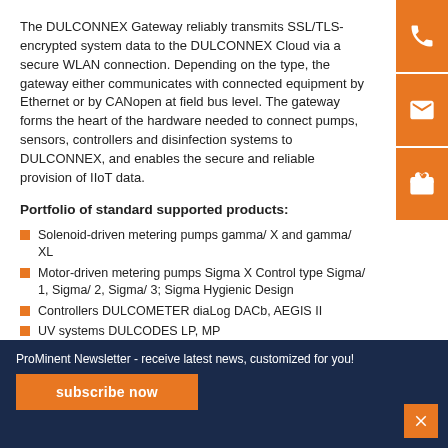The DULCONNEX Gateway reliably transmits SSL/TLS-encrypted system data to the DULCONNEX Cloud via a secure WLAN connection. Depending on the type, the gateway either communicates with connected equipment by Ethernet or by CANopen at field bus level. The gateway forms the heart of the hardware needed to connect pumps, sensors, controllers and disinfection systems to DULCONNEX, and enables the secure and reliable provision of IIoT data.
Portfolio of standard supported products:
Solenoid-driven metering pumps gamma/ X and gamma/ XL
Motor-driven metering pumps Sigma X Control type Sigma/ 1, Sigma/ 2, Sigma/ 3; Sigma Hygienic Design
Controllers DULCOMETER diaLog DACb, AEGIS II
UV systems DULCODES LP, MP
Chlorine dioxide systems Bello Zon CDLb, CDLb H₂SO₄
DULCOMETER M module, I module
Peristaltic pump DULCOFLEX DF4a
Peristaltic metering pumps DULCO flex Control DFXa, DFYa
ProMinent Newsletter - receive latest news, customized for you! [subscribe now button]